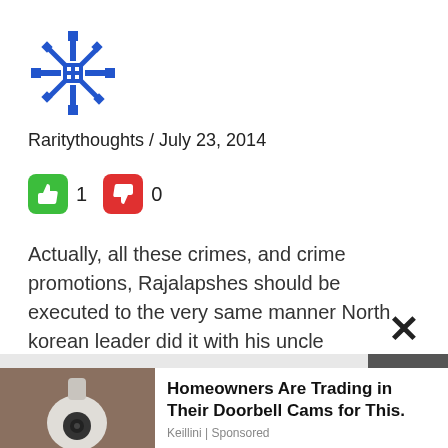[Figure (logo): Blue decorative snowflake/star logo icon]
Raritythoughts / July 23, 2014
👍 1  👎 0
Actually, all these crimes, and crime promotions, Rajalapshes should be executed to the very same manner North korean leader did it with his uncle
[Figure (screenshot): Ad banner: Homeowners Are Trading in Their Doorbell Cams for This. Keillini | Sponsored. Shows photo of a light bulb camera.]